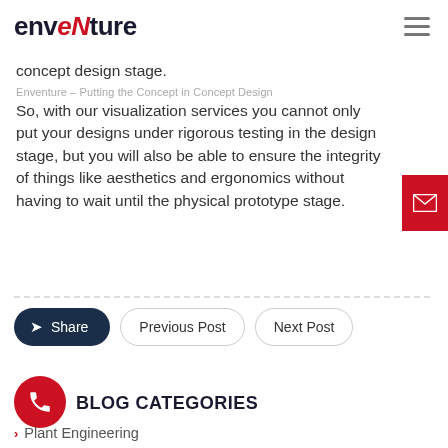enventure
concept design stage.
Enventure – Putting the Concept in Concept Design
So, with our visualization services you cannot only put your designs under rigorous testing in the design stage, but you will also be able to ensure the integrity of things like aesthetics and ergonomics without having to wait until the physical prototype stage.
Share
Previous Post
Next Post
BLOG CATEGORIES
Plant Engineering